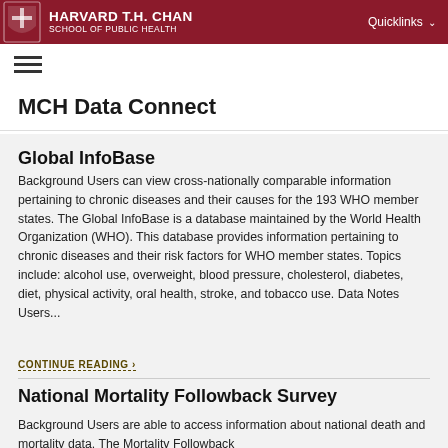HARVARD T.H. CHAN SCHOOL OF PUBLIC HEALTH | Quicklinks
MCH Data Connect
Global InfoBase
Background Users can view cross-nationally comparable information pertaining to chronic diseases and their causes for the 193 WHO member states. The Global InfoBase is a database maintained by the World Health Organization (WHO). This database provides information pertaining to chronic diseases and their risk factors for WHO member states. Topics include: alcohol use, overweight, blood pressure, cholesterol, diabetes, diet, physical activity, oral health, stroke, and tobacco use. Data Notes Users...
CONTINUE READING >
National Mortality Followback Survey
Background Users are able to access information about national death and mortality data. The Mortality Followback...